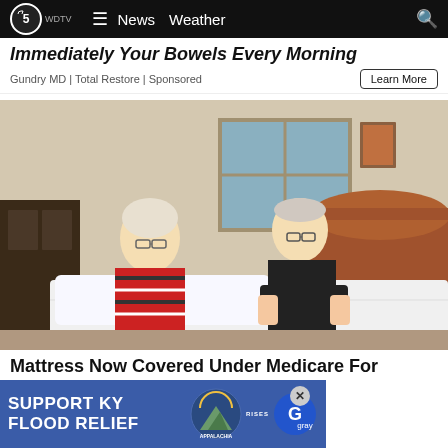WDTV 5 | News   Weather
Immediately Your Bowels Every Morning
Gundry MD | Total Restore | Sponsored
[Figure (photo): An older woman with short white-blonde hair and glasses wearing a striped red and black sweater, and an older man in a black polo shirt, both standing and leaning over a white mattress on a bed with a wooden headboard in a bedroom.]
Mattress Now Covered Under Medicare For Seniors
Mattress...
[Figure (infographic): Blue banner advertisement: SUPPORT KY FLOOD RELIEF, with Appalachia Rises mountain logo and Gray television network logo]